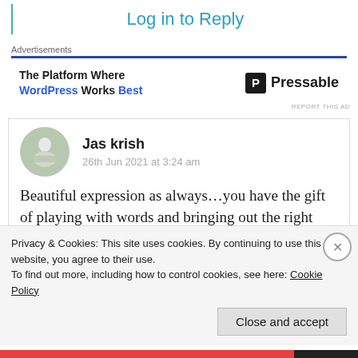Log in to Reply
Advertisements
[Figure (infographic): Advertisement banner for Pressable: 'The Platform Where WordPress Works Best' with Pressable logo]
REPORT THIS AD
Jas krish
26th Jun 2021 at 3:24 am
Beautiful expression as always…you have the gift of playing with words and bringing out the right
Privacy & Cookies: This site uses cookies. By continuing to use this website, you agree to their use.
To find out more, including how to control cookies, see here: Cookie Policy
Close and accept